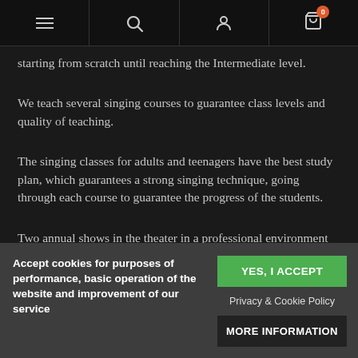Navigation bar with menu, search, account, and cart icons
starting from scratch until reaching the Intermediate level.
We teach several singing courses to guarantee class levels and quality of teaching.
The singing classes for adults and teenagers have the best study plan, which guarantees a strong singing technique, going through each course to guarantee the progress of the students.
Two annual shows in the theater in a professional environment where the songs learned in the course are performed.
Accept cookies for purposes of performance, basic operation of the website and improvement of our service
YES, I ACCEPT
Privacy & Cookie Policy
MORE INFORMATION